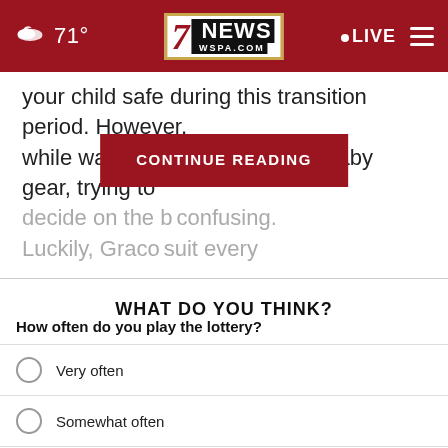7NEWS WSPA.COM — 71° — LIVE
your child safe during this transition period. However, while walking through aisles of baby gear, trying to decide on the b... confusing. Luckily, Graco... suit every
[Figure (screenshot): CONTINUE READING button overlay in dark red]
WHAT DO YOU THINK?
How often do you play the lottery?
Very often
Somewhat often
Not that often
Not often at all
Other/...